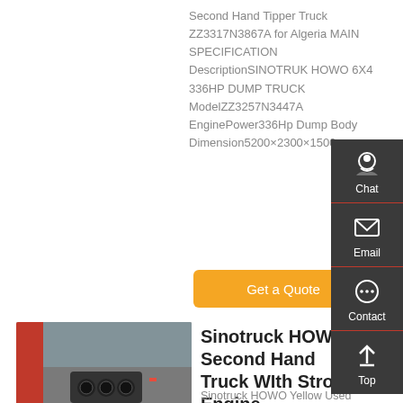Second Hand Tipper Truck ZZ3317N3867A for Algeria MAIN SPECIFICATION DescriptionSINOTRUK HOWO 6X4 336HP DUMP TRUCK ModelZZ3257N3447A EnginePower336Hp Dump Body Dimension5200×2300×1500mm
Get a Quote
[Figure (photo): Interior cab view of a Sinotruck HOWO truck showing steering wheel and dashboard]
Sinotruck HOWO Second Hand Truck WIth Strong Engine
Sinotruck HOWO Yellow Used